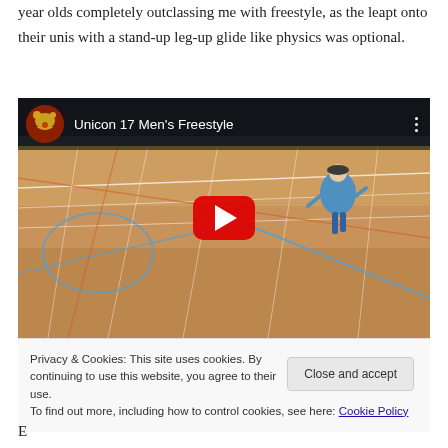year olds completely outclassing me with freestyle, as the leapt onto their unis with a stand-up leg-up glide like physics was optional.
[Figure (screenshot): YouTube video embed showing 'Unicon 17 Men's Freestyle' with a player on a wooden gymnasium floor, red play button in center, channel icon top left, more options icon top right. Below the video is a cookie consent bar with close and accept button.]
Privacy & Cookies: This site uses cookies. By continuing to use this website, you agree to their use.
To find out more, including how to control cookies, see here: Cookie Policy
E